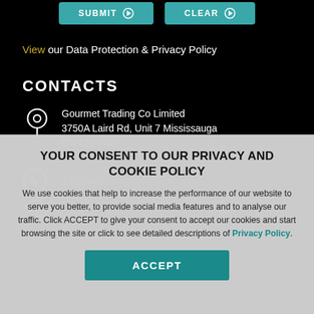[Figure (screenshot): Two teal buttons labeled SUBMIT and CLEAR at the top of a dark/black background page]
View our Data Protection & Privacy Policy
CONTACTS
Gourmet Trading Co Limited
3750A Laird Rd, Unit 7 Mississauga
ON L5L 0A6
+1 905-488-...
Sitemap
YOUR CONSENT TO OUR PRIVACY AND COOKIE POLICY
We use cookies that help to increase the performance of our website to serve you better, to provide social media features and to analyse our traffic. Click ACCEPT to give your consent to accept our cookies and start browsing the site or click to see detailed descriptions of Privacy Policy.
[Figure (other): Teal ACCEPT button in cookie consent modal]